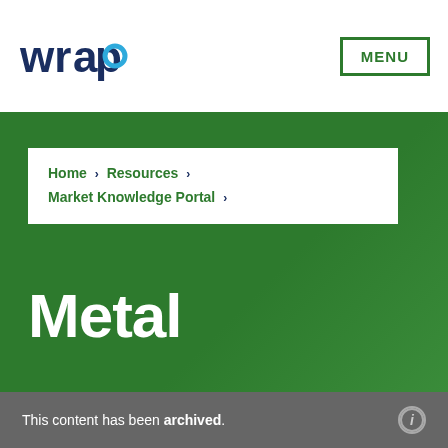wrap MENU
Home › Resources › Market Knowledge Portal ›
Metal
This content has been archived.